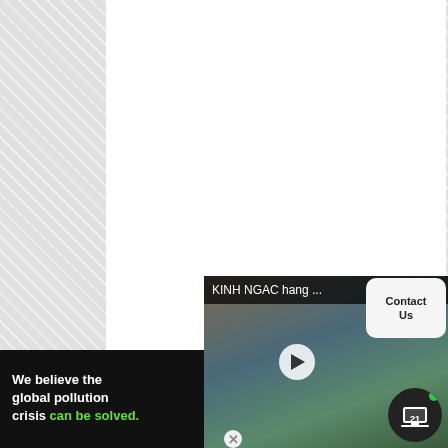[Figure (other): Ezoic advertisement placeholder with hatched gray background pattern and white ad space, showing ezoic badge and 'report this ad' link]
Copyright © 2020 - 2022 Webnews21 (GMW). Chat us for guest posts and personalized ads
Home   Privacy Policy   Terms & Conditions   Disclaimer   About webnews21   Contact us
[Figure (screenshot): Video player showing 'KINH NGAC hang ...' title with play button overlay, mountain/cliff landscape background, Contact Us button, and TV21 logo icon]
[Figure (other): Advertisement: 'We believe the global pollution crisis can be solved.' with green text for 'can be solved.']